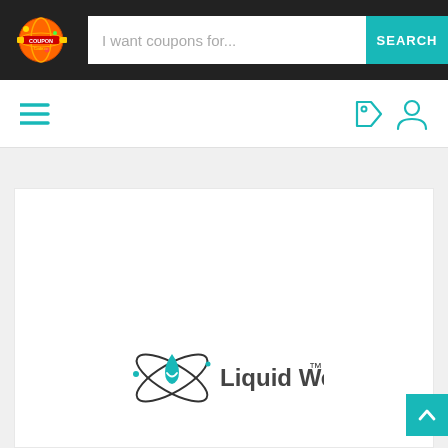[Figure (screenshot): Website header with CouponCodes logo, search bar with placeholder 'I want coupons for...' and teal SEARCH button]
[Figure (screenshot): Navigation bar with hamburger menu icon on left and tag/user icons on right (teal color)]
[Figure (logo): Liquid Web logo with water drop and orbit icon in teal/dark gray colors, with trademark symbol]
[Figure (screenshot): Teal back-to-top button with upward chevron arrow in bottom right corner]